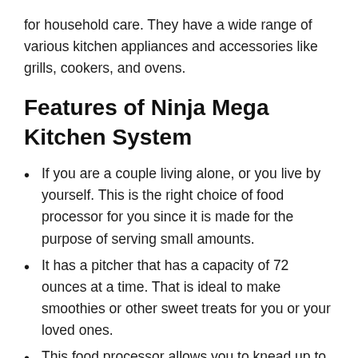for household care. They have a wide range of various kitchen appliances and accessories like grills, cookers, and ovens.
Features of Ninja Mega Kitchen System
If you are a couple living alone, or you live by yourself. This is the right choice of food processor for you since it is made for the purpose of serving small amounts.
It has a pitcher that has a capacity of 72 ounces at a time. That is ideal to make smoothies or other sweet treats for you or your loved ones.
This food processor allows you to knead up to